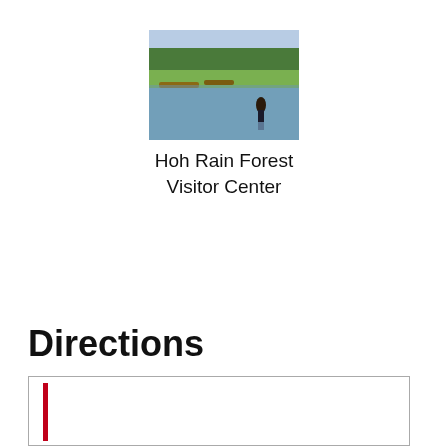[Figure (photo): Photograph of a river or lake scene with trees and vegetation on the far bank, a person standing in the water in the foreground.]
Hoh Rain Forest Visitor Center
Directions
[Figure (map): A map or directions box with a red vertical line indicator on the left side inside a bordered rectangle.]